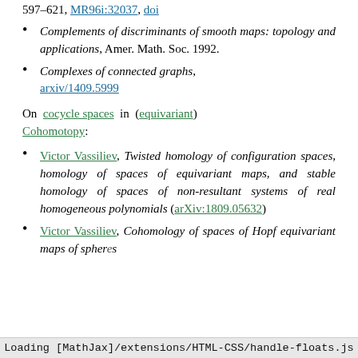597–621, MR96i:32037, doi
Complements of discriminants of smooth maps: topology and applications, Amer. Math. Soc. 1992.
Complexes of connected graphs, arxiv/1409.5999
On cocycle spaces in (equivariant) Cohomotopy:
Victor Vassiliev, Twisted homology of configuration spaces, homology of spaces of equivariant maps, and stable homology of spaces of non-resultant systems of real homogeneous polynomials (arXiv:1809.05632)
Victor Vassiliev, Cohomology of spaces of Hopf equivariant maps of spheres...
Loading [MathJax]/extensions/HTML-CSS/handle-floats.js